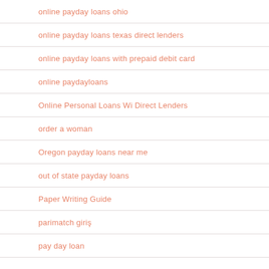online payday loans ohio
online payday loans texas direct lenders
online payday loans with prepaid debit card
online paydayloans
Online Personal Loans Wi Direct Lenders
order a woman
Oregon payday loans near me
out of state payday loans
Paper Writing Guide
parimatch giriş
pay day loan